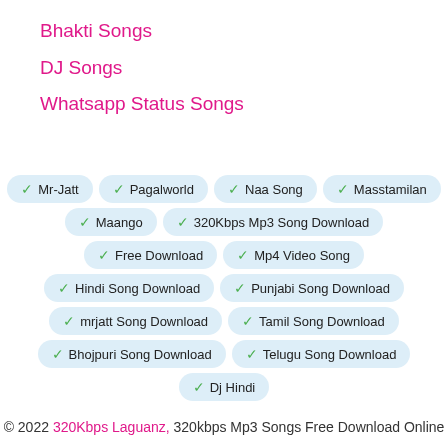Bhakti Songs
DJ Songs
Whatsapp Status Songs
✓ Mr-Jatt
✓ Pagalworld
✓ Naa Song
✓ Masstamilan
✓ Maango
✓ 320Kbps Mp3 Song Download
✓ Free Download
✓ Mp4 Video Song
✓ Hindi Song Download
✓ Punjabi Song Download
✓ mrjatt Song Download
✓ Tamil Song Download
✓ Bhojpuri Song Download
✓ Telugu Song Download
✓ Dj Hindi
© 2022 320Kbps Laguanz, 320kbps Mp3 Songs Free Download Online